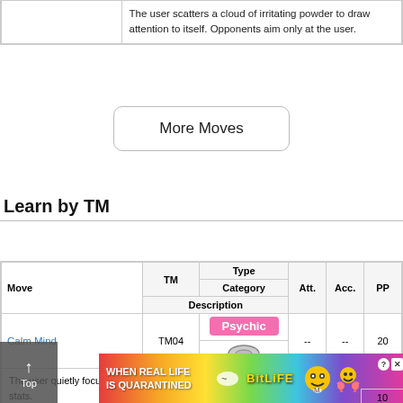| Move | Description |
| --- | --- |
|  | The user scatters a cloud of irritating powder to draw attention to itself. Opponents aim only at the user. |
More Moves
Learn by TM
| Move | TM | Type | Category | Att. | Acc. | PP | Description |
| --- | --- | --- | --- | --- | --- | --- | --- |
| Calm Mind | TM04 | Psychic | [status icon] | -- | -- | 20 | The user quietly focuses its mind and calms its spirit to raise its Sp. Atk and Sp. Def stats. |
|  |  |  |  |  |  | 10 |  |